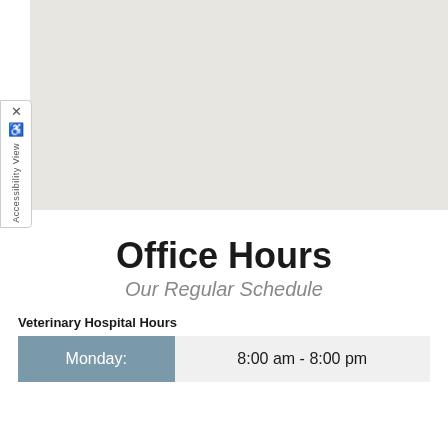[Figure (map): Embedded map showing a geographic area with light gray/beige styling, typical of a Google Maps or similar web map embed.]
Office Hours
Our Regular Schedule
Veterinary Hospital Hours
| Day | Hours |
| --- | --- |
| Monday: | 8:00 am - 8:00 pm |